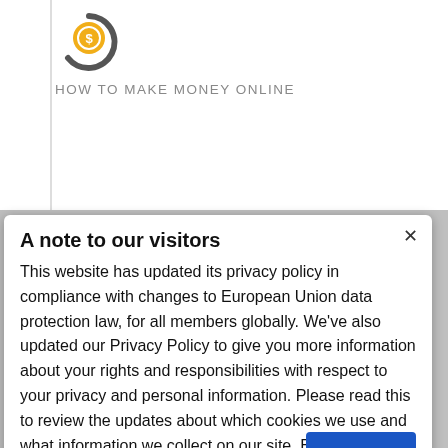[Figure (logo): Circular logo with orange and grey elements, representing 'How to Make Money Online' website]
HOW TO MAKE MONEY ONLINE
A note to our visitors
This website has updated its privacy policy in compliance with changes to European Union data protection law, for all members globally. We've also updated our Privacy Policy to give you more information about your rights and responsibilities with respect to your privacy and personal information. Please read this to review the updates about which cookies we use and what information we collect on our site. By continuing to use this site, you are agreeing to our updated privacy policy.